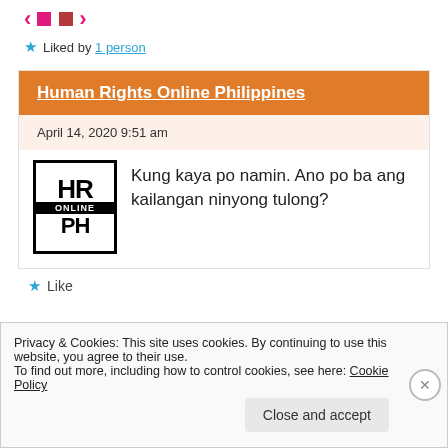[Figure (infographic): Navigation icons: left arrow, pink square, dark red square, right arrow in pink/red colors]
★ Liked by 1 person
Human Rights Online Philippines
April 14, 2020 9:51 am
[Figure (logo): HR Online PH logo: black bordered box with HR ONLINE PH text]
Kung kaya po namin. Ano po ba ang kailangan ninyong tulong?
★ Like
Privacy & Cookies: This site uses cookies. By continuing to use this website, you agree to their use.
To find out more, including how to control cookies, see here: Cookie Policy
Close and accept